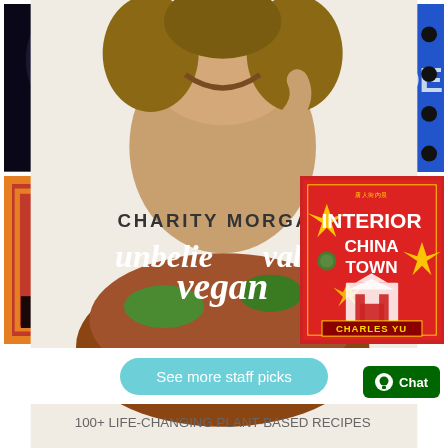[Figure (illustration): Book cover: Star Wars Thrawn by Timothy Zahn, dark blue/gold cover with alien figure]
[Figure (illustration): Book cover: The True Story of Farm Country on Trial by Corban Addison, foreword by John Grisham, dark cover]
[Figure (illustration): Book cover: Upgrade by Blake Crouch, blue cover with dots]
[Figure (illustration): Book cover: Last Call at the Hotel Imperial by Deborah Cohen, red cover with typewriter silhouette]
[Figure (illustration): Book cover: Unbelievably Vegan by Charity Morgan, person eating food with plant-based dish]
[Figure (illustration): Book cover: Interior Chinatown by Charles Yu, red cover with Chinese architectural elements]
See more staff picks
Chat